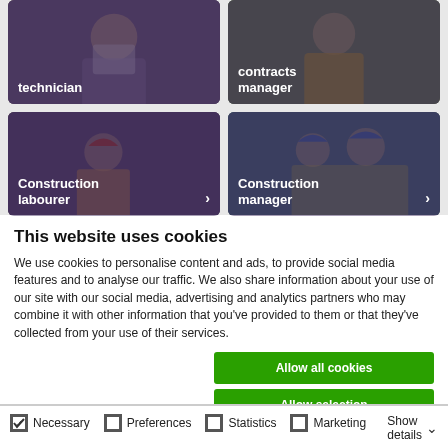[Figure (photo): Two job role cards in top row: 'technician' card (person with tablet) and 'contracts manager' card (person in hi-vis vest)]
[Figure (photo): Two job role cards in bottom row: 'Construction labourer' card (worker in red hard hat) and 'Construction manager' card (group in blue hard hats)]
This website uses cookies
We use cookies to personalise content and ads, to provide social media features and to analyse our traffic. We also share information about your use of our site with our social media, advertising and analytics partners who may combine it with other information that you've provided to them or that they've collected from your use of their services.
Allow all cookies
Allow selection
Use necessary cookies only
Necessary  Preferences  Statistics  Marketing  Show details